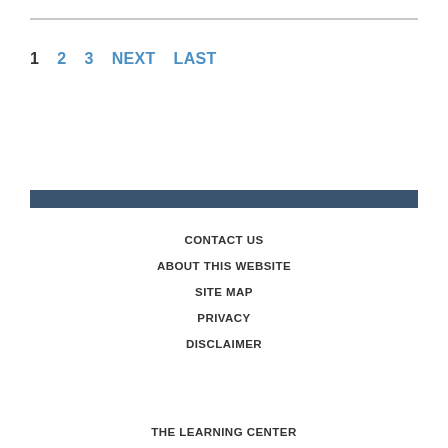1   2   3   NEXT   LAST
CONTACT US
ABOUT THIS WEBSITE
SITE MAP
PRIVACY
DISCLAIMER
THE LEARNING CENTER